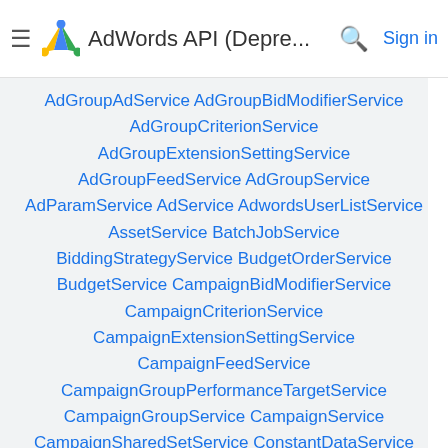AdWords API (Depre... Sign in
AdGroupAdService AdGroupBidModifierService
AdGroupCriterionService
AdGroupExtensionSettingService
AdGroupFeedService AdGroupService
AdParamService AdService AdwordsUserListService
AssetService BatchJobService
BiddingStrategyService BudgetOrderService
BudgetService CampaignBidModifierService
CampaignCriterionService
CampaignExtensionSettingService
CampaignFeedService
CampaignGroupPerformanceTargetService
CampaignGroupService CampaignService
CampaignSharedSetService ConstantDataService
ConversionTrackerService CustomAffinityService
CustomerExtensionSettingService
CustomerFeedService